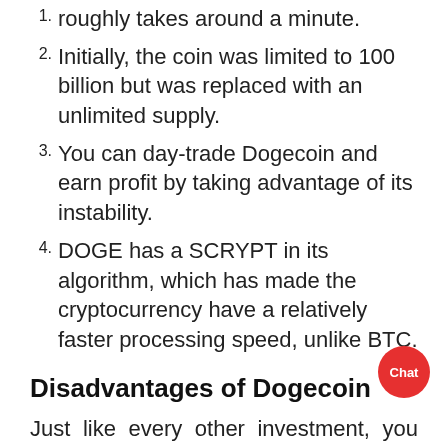roughly takes around a minute.
Initially, the coin was limited to 100 billion but was replaced with an unlimited supply.
You can day-trade Dogecoin and earn profit by taking advantage of its instability.
DOGE has a SCRYPT in its algorithm, which has made the cryptocurrency have a relatively faster processing speed, unlike BTC.
Disadvantages of Dogecoin
Just like every other investment, you are investing your money into Dogecoin is not risk-free. So here are the things you must know about the risks of investing in Dogecoin.
Dogecoin possibly will not be a long-term investment.
Dogecoin depends only on its fun